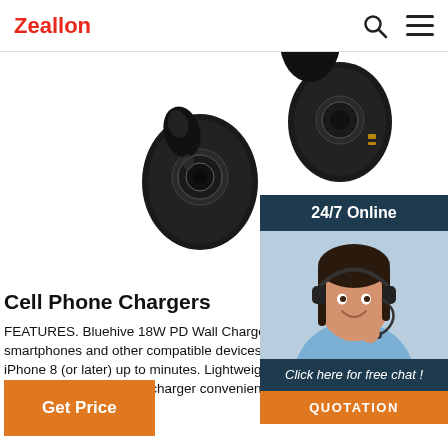Zeallon
[Figure (photo): Two black wireless earbuds (TWS earphones) photographed on white background, showing the earbud housings and ear tips]
[Figure (photo): Customer support agent - smiling woman with dark hair wearing a headset, shown from shoulders up, with 24/7 Online header, 'Click here for free chat!' and QUOTATION button overlay]
Cell Phone Chargers
FEATURES. Bluehive 18W PD Wall Charger provides charging for smartphones and other compatible devices. power allows to recharge iPhone 8 (or later) up to minutes. Lightweight and compact design with foldable plug makes the charger convenient to use while traveling, at work or at home.
Get Price